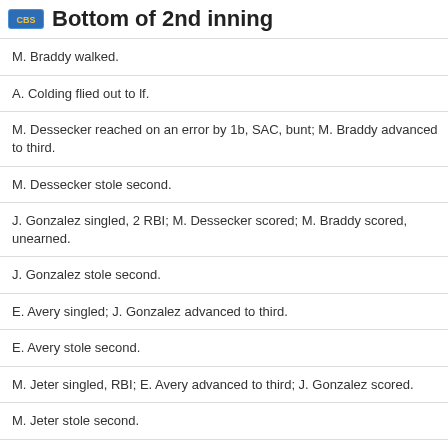Bottom of 2nd inning
M. Braddy walked.
A. Colding flied out to lf.
M. Dessecker reached on an error by 1b, SAC, bunt; M. Braddy advanced to third.
M. Dessecker stole second.
J. Gonzalez singled, 2 RBI; M. Dessecker scored; M. Braddy scored, unearned.
J. Gonzalez stole second.
E. Avery singled; J. Gonzalez advanced to third.
E. Avery stole second.
M. Jeter singled, RBI; E. Avery advanced to third; J. Gonzalez scored.
M. Jeter stole second.
A. Campbell struck out.